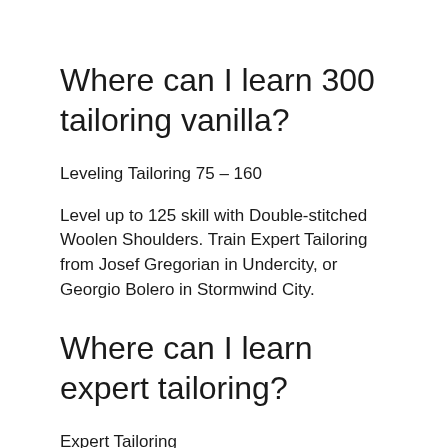Where can I learn 300 tailoring vanilla?
Leveling Tailoring 75 – 160
Level up to 125 skill with Double-stitched Woolen Shoulders. Train Expert Tailoring from Josef Gregorian in Undercity, or Georgio Bolero in Stormwind City.
Where can I learn expert tailoring?
Expert Tailoring